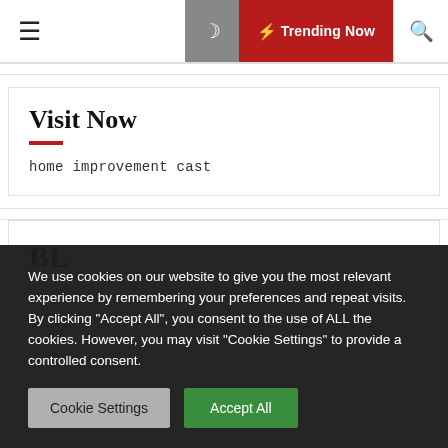≡  🌙  ⚡ Trending Now  🔍
Visit Now
home improvement cast
BL
We use cookies on our website to give you the most relevant experience by remembering your preferences and repeat visits. By clicking "Accept All", you consent to the use of ALL the cookies. However, you may visit "Cookie Settings" to provide a controlled consent.